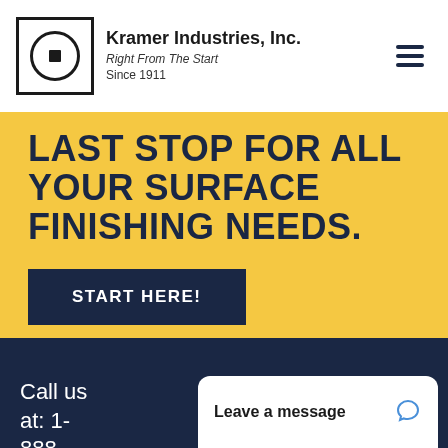Kramer Industries, Inc. Right From The Start Since 1911
LAST STOP FOR ALL YOUR SURFACE FINISHING NEEDS.
START HERE!
Call us at: 1-888-515-
Leave a message